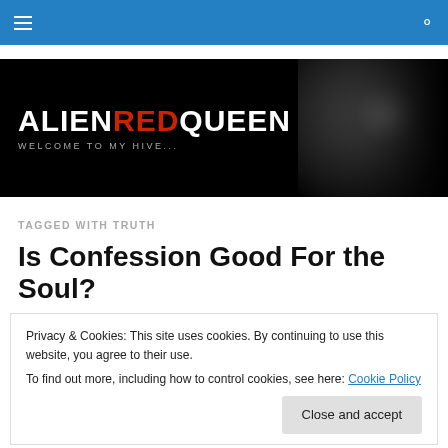Navigation bar with hamburger menu and search icon
[Figure (logo): AlienRedQueen blog banner with text ALIENREDQUEEN WELCOME TO MY HIVE... on dark background with alien imagery]
TAGGED WITH TRUTH
Is Confession Good For the Soul?
Privacy & Cookies: This site uses cookies. By continuing to use this website, you agree to their use.
To find out more, including how to control cookies, see here: Cookie Policy
Close and accept
And I have a lot of talking about to do...